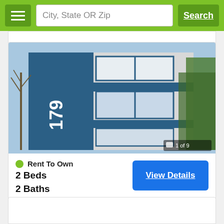City, State OR Zip | Search
[Figure (photo): Exterior photo of a two-story house with blue and white siding, large windows, address number 179 visible on the blue facade, trees visible. Badge shows '1 of 9'.]
Rent To Own
2 Beds
2 Baths
Englewood, CO 80110
View Details